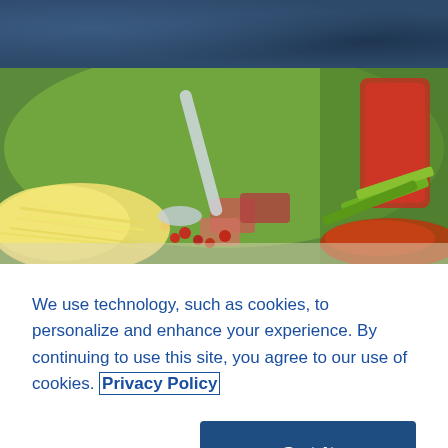[Figure (photo): Dark navy blue textured banner header background]
[Figure (photo): Close-up food photo showing shredded cheese, beans, bacon pieces, green onion, spices, and a red drink in the background on a green blurred background]
We use technology, such as cookies, to personalize and enhance your experience. By continuing to use this site, you agree to our use of cookies. Privacy Policy
Cookie Settings
Got It